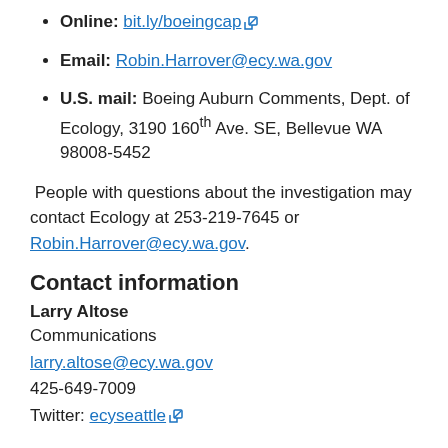Online: bit.ly/boeingcap
Email: Robin.Harrover@ecy.wa.gov
U.S. mail: Boeing Auburn Comments, Dept. of Ecology, 3190 160th Ave. SE, Bellevue WA 98008-5452
People with questions about the investigation may contact Ecology at 253-219-7645 or Robin.Harrover@ecy.wa.gov.
Contact information
Larry Altose
Communications
larry.altose@ecy.wa.gov
425-649-7009
Twitter: ecyseattle